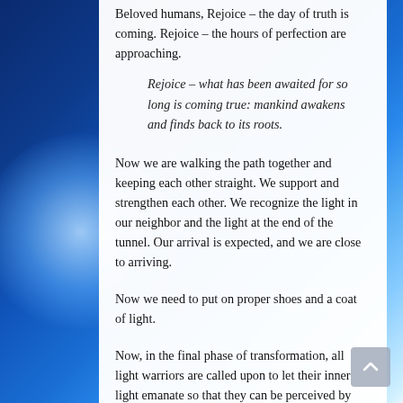Beloved humans, Rejoice – the day of truth is coming. Rejoice – the hours of perfection are approaching.
Rejoice – what has been awaited for so long is coming true: mankind awakens and finds back to its roots.
Now we are walking the path together and keeping each other straight. We support and strengthen each other. We recognize the light in our neighbor and the light at the end of the tunnel. Our arrival is expected, and we are close to arriving.
Now we need to put on proper shoes and a coat of light.
Now, in the final phase of transformation, all light warriors are called upon to let their inner light emanate so that they can be perceived by other people; by those who are looking for guidance